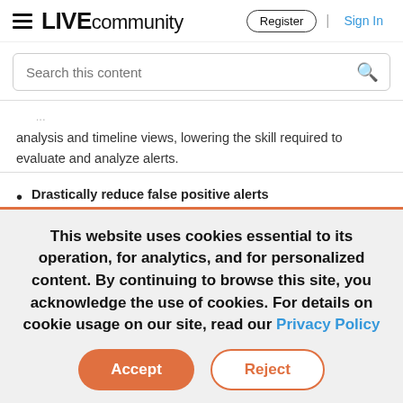LIVE community — Register | Sign In
Search this content
analysis and timeline views, lowering the skill required to evaluate and analyze alerts.
Drastically reduce false positive alerts
Apply knowledge from every investigation to refine
This website uses cookies essential to its operation, for analytics, and for personalized content. By continuing to browse this site, you acknowledge the use of cookies. For details on cookie usage on our site, read our Privacy Policy